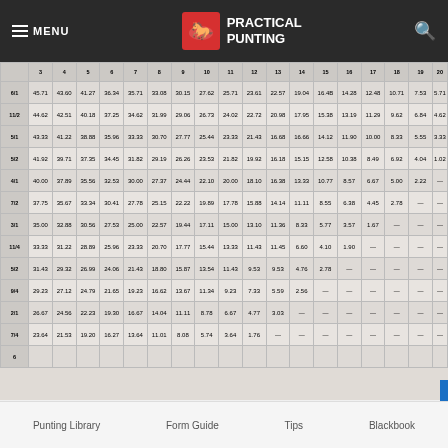MENU | PRACTICAL PUNTING
| 6/1 | 11/2 | 5/1 | 5/2 | 4/1 | 7/2 | 3/1 | 11/4 | 5/2 | 9/4 | 2/1 | 7/4 | 6 |
| --- | --- | --- | --- | --- | --- | --- | --- | --- | --- | --- | --- | --- |
| 45.71 | 44.62 | 43.33 | 41.92 | 40.00 | 37.75 | 35.00 | 33.33 | 31.43 | 29.23 | 26.67 | 23.64 |  |
| 43.60 | 42.51 | 41.22 | 39.71 | 37.89 | 35.67 | 32.88 | 31.22 | 29.32 | 27.12 | 24.56 | 21.53 |  |
| 41.27 | 40.18 | 38.88 | 37.35 | 35.56 | 33.34 | 30.56 | 28.89 | 26.99 | 24.79 | 22.23 | 19.20 |  |
| 36.34 | 37.25 | 35.96 | 34.45 | 32.53 | 30.41 | 27.53 | 25.96 | 24.06 | 21.65 | 19.30 | 16.27 |  |
| 35.71 | 34.62 | 33.33 | 31.82 | 30.00 | 27.78 | 25.00 | 23.33 | 21.43 | 19.23 | 16.67 | 13.64 |  |
| 33.08 | 31.99 | 30.70 | 29.19 | 27.37 | 25.15 | 22.57 | 20.70 | 18.80 | 16.62 | 14.04 | 11.01 |  |
| 30.15 | 29.06 | 27.77 | 26.26 | 24.44 | 22.22 | 19.44 | 17.77 | 15.87 | 13.67 | 11.11 | 8.08 |  |
| 27.62 | 26.73 | 25.44 | 23.53 | 22.10 | 19.89 | 17.11 | 15.44 | 13.54 | 11.34 | 8.76 | 5.74 |  |
| 25.71 | 24.02 | 23.33 | 21.82 | 20.00 | 17.78 | 15.00 | 13.33 | 11.43 | 9.23 | 6.67 | 3.64 |  |
| 23.61 | 22.72 | 21.43 | 19.92 | 18.10 | 15.88 | 13.10 | 11.43 | 9.53 | 7.33 | 4.77 | 1.76 |  |
| 22.57 | 20.98 | 16.68 | 16.18 | 16.38 | 14.14 | 11.36 | 11.45 | 9.53 | 5.59 | 3.03 | — |  |
| 19.04 | 17.95 | 16.66 | 15.15 | 13.33 | 11.11 | 8.33 | 6.60 | 4.76 | 2.56 | — | — |  |
| 16.4B | 15.38 | 14.12 | 12.58 | 10.77 | 8.55 | 5.77 | 4.10 | 2.78 | — | — | — |  |
| 14.28 | 13.19 | 11.90 | 10.38 | 8.57 | 6.38 | 3.57 | 1.90 | — | — | — | — |  |
| 12.48 | 11.29 | 10.00 | 8.49 | 6.67 | 4.45 | 1.67 | — | — | — | — | — |  |
| 10.71 | 9.62 | 8.33 | 6.92 | 5.00 | 2.78 | — | — | — | — | — | — |  |
| 7.53 | 6.84 | 5.55 | 4.04 | 2.22 | — | — | — | — | — | — | — |  |
| 5.71 | 4.62 | 3.33 | 1.02 | — | — | — | — | — | — | — | — |  |
| 3.80 | 2.80 | 1.51 | — | — | — | — | — | — | — | — | — |  |
| 2.38 | 1.29 | — | — | — | — | — | — | — | — | — | — |  |
Punting Library    Form Guide    Tips    Blackbook